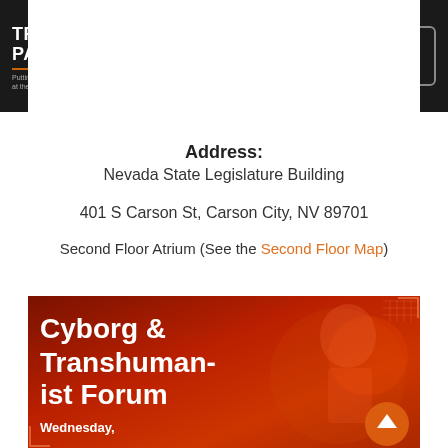TRANSHUMANIST PARTY — Putting Science, Health, & Technology at the Forefront of American Politics
Address:
Nevada State Legislature Building
401 S Carson St, Carson City, NV 89701
Second Floor Atrium (See the Second Floor Map)
[Figure (illustration): Event promotional banner for 'Cyborg & Transhumanist Forum' on Wednesday, with orange/red background and stylized cyborg imagery]